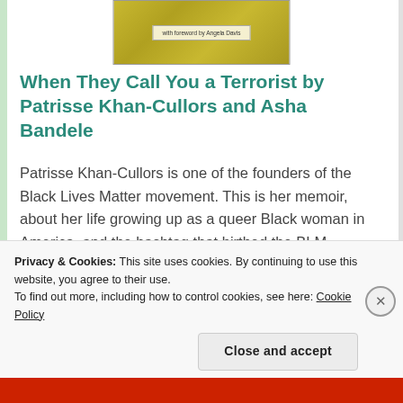[Figure (illustration): Partial book cover at the top of the page with yellow/gold patterned background and a centered text label reading 'with foreword by Angela Davis']
When They Call You a Terrorist by Patrisse Khan-Cullors and Asha Bandele
Patrisse Khan-Cullors is one of the founders of the Black Lives Matter movement. This is her memoir, about her life growing up as a queer Black woman in America, and the hashtag that birthed the BLM movement.
[Figure (illustration): Colorful book cover for 'We Have' with multicolored abstract blob shapes in teal, pink, orange, green on a colorful background, with 'MOIR' text on the right side]
Privacy & Cookies: This site uses cookies. By continuing to use this website, you agree to their use.
To find out more, including how to control cookies, see here: Cookie Policy
Close and accept